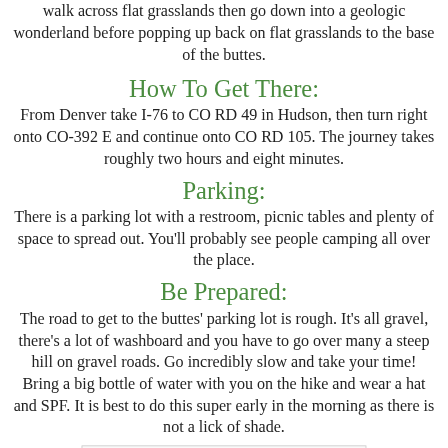walk across flat grasslands then go down into a geologic wonderland before popping up back on flat grasslands to the base of the buttes.
How To Get There:
From Denver take I-76 to CO RD 49 in Hudson, then turn right onto CO-392 E and continue onto CO RD 105. The journey takes roughly two hours and eight minutes.
Parking:
There is a parking lot with a restroom, picnic tables and plenty of space to spread out. You'll probably see people camping all over the place.
Be Prepared:
The road to get to the buttes' parking lot is rough. It's all gravel, there's a lot of washboard and you have to go over many a steep hill on gravel roads. Go incredibly slow and take your time! Bring a big bottle of water with you on the hike and wear a hat and SPF. It is best to do this super early in the morning as there is not a lick of shade.